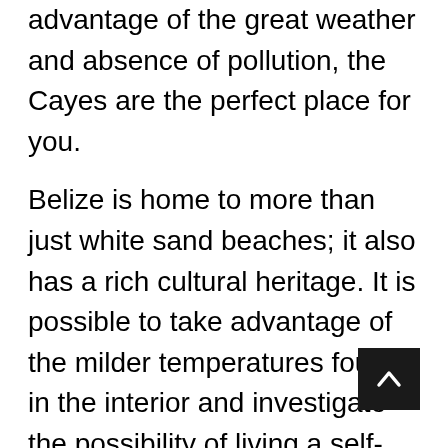advantage of the great weather and absence of pollution, the Cayes are the perfect place for you.
Belize is home to more than just white sand beaches; it also has a rich cultural heritage. It is possible to take advantage of the milder temperatures found in the interior and investigate the possibility of living a self-sufficient, off-grid existence there.
When you live in Carmelita Gardens, you have the flexibility to live your life your way. It is possible to grow your own food and generate your own electricity at this location. If you integrate water collection equipment and advanced sewerage